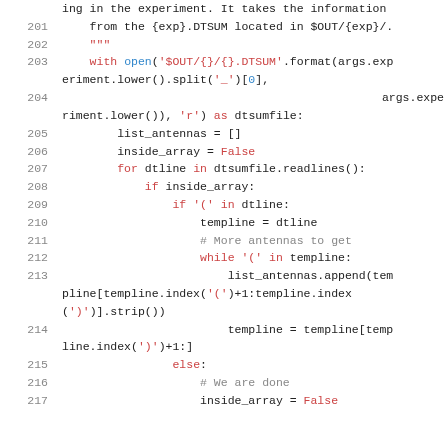[Figure (screenshot): Python source code snippet showing lines 201-217, with syntax highlighting. Colors used: gray for line numbers, red/pink for keywords and strings, blue for function names and indices, gray for comments, black for regular code.]